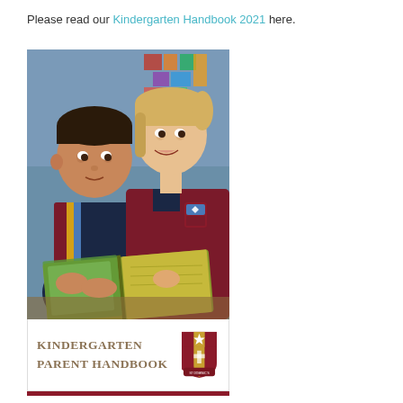Please read our Kindergarten Handbook 2021 here.
[Figure (photo): Cover of Kindergarten Parent Handbook showing two primary school children in maroon uniforms reading a book together in a classroom, with the text 'Kindergarten Parent Handbook' and a school crest/shield logo at the bottom of the cover.]